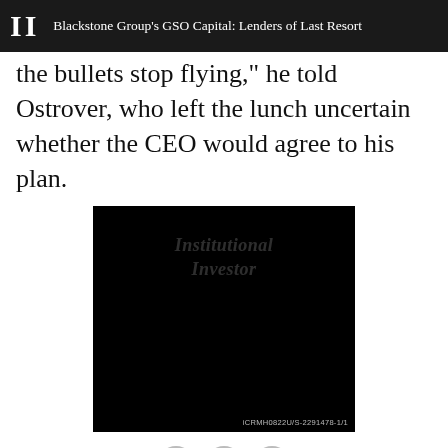II  Blackstone Group's GSO Capital: Lenders of Last Resort
the bullets stop flying," he told Ostrover, who left the lunch uncertain whether the CEO would agree to his plan.
[Figure (photo): Black image with 'Institutional Investor' watermark and reference code iCRMH0822U/S-2291478-1/1]
Social sharing icons: Facebook, Twitter, Plus